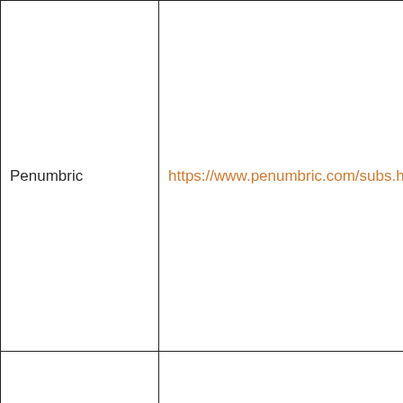| Penumbric | https://www.penumbric.com/subs.html |
|  |  |